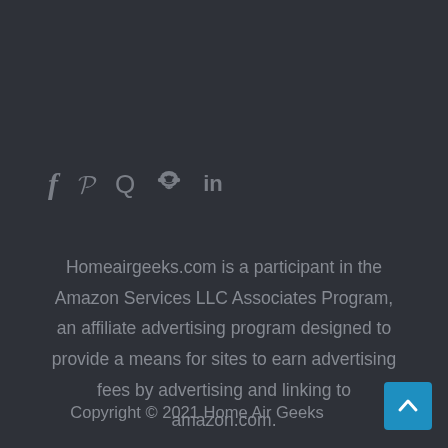[Figure (infographic): Social media icons row: Facebook (f), Pinterest (P), Quora (Q), Reddit (alien head), LinkedIn (in)]
Homeairgeeks.com is a participant in the Amazon Services LLC Associates Program, an affiliate advertising program designed to provide a means for sites to earn advertising fees by advertising and linking to amazon.com.
Copyright © 2021 Home Air Geeks